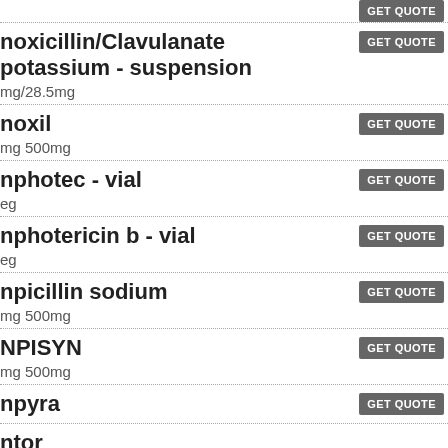GET QUOTE (top row)
noxicillin/Clavulanate potassium - suspension | mg/28.5mg | GET QUOTE
noxil | mg 500mg | GET QUOTE
nphotec - vial | eg | GET QUOTE
nphotericin b - vial | eg | GET QUOTE
npicillin sodium | mg 500mg | GET QUOTE
NPISYN | mg 500mg | GET QUOTE
npyra | GET QUOTE
ntor | ng/10mg 2.5mg/20mg 2.5mg/40mg 5mg/10mg 5mg/20mg